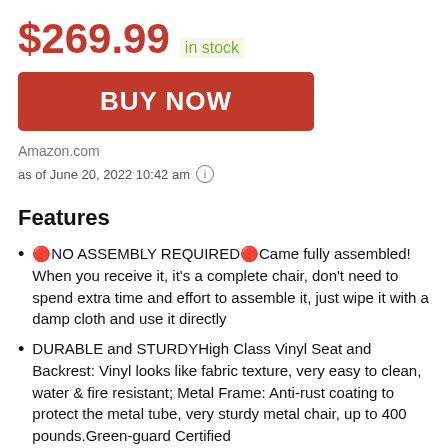$269.99 in stock
BUY NOW
Amazon.com
as of June 20, 2022 10:42 am ℹ
Features
🔴NO ASSEMBLY REQUIRED🔴Came fully assembled! When you receive it, it's a complete chair, don't need to spend extra time and effort to assemble it, just wipe it with a damp cloth and use it directly
DURABLE and STURDYHigh Class Vinyl Seat and Backrest: Vinyl looks like fabric texture, very easy to clean, water & fire resistant; Metal Frame: Anti-rust coating to protect the metal tube, very sturdy metal chair, up to 400 pounds.Green-guard Certified